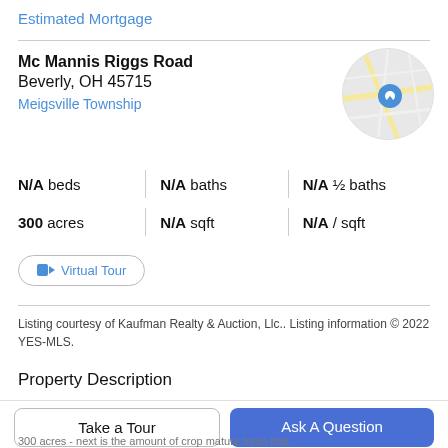Estimated Mortgage
Mc Mannis Riggs Road
Beverly, OH 45715
Meigsville Township
[Figure (map): Circular Google Maps thumbnail showing road map with blue location pin marker]
N/A beds  |  N/A baths  |  N/A ½ baths
300 acres  |  N/A sqft  |  N/A / sqft
Virtual Tour
Listing courtesy of Kaufman Realty & Auction, Llc.. Listing information © 2022 YES-MLS.
Property Description
Take a Tour
Ask A Question
300 acres - next is the amount of crop mature trees that